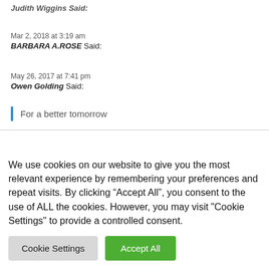Judith Wiggins Said:
Mar 2, 2018 at 3:19 am
BARBARA A.ROSE Said:
May 26, 2017 at 7:41 pm
Owen Golding Said:
For a better tomorrow
We use cookies on our website to give you the most relevant experience by remembering your preferences and repeat visits. By clicking “Accept All”, you consent to the use of ALL the cookies. However, you may visit "Cookie Settings" to provide a controlled consent.